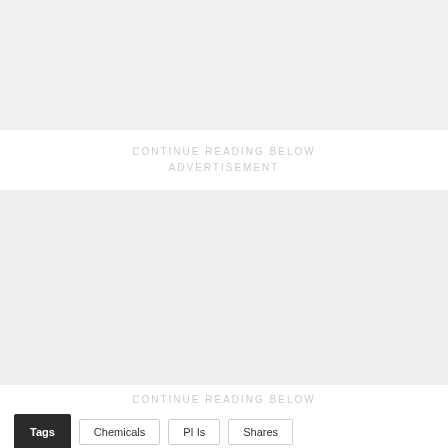CONTINUE READING BELOW
ADVERTISEMENT
CONTINUE READING BELOW
Tags
Chemicals
PI Is
Shares